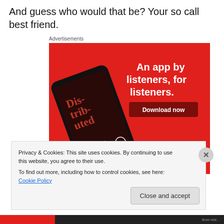And guess who would that be? Your so call best friend.
Advertisements
[Figure (illustration): Pocket Casts app advertisement on red background showing a smartphone with 'Distributed' podcast, text: 'An app by listeners, for listeners.' with a Download now button and Pocket Casts logo]
Privacy & Cookies: This site uses cookies. By continuing to use this website, you agree to their use.
To find out more, including how to control cookies, see here: Cookie Policy